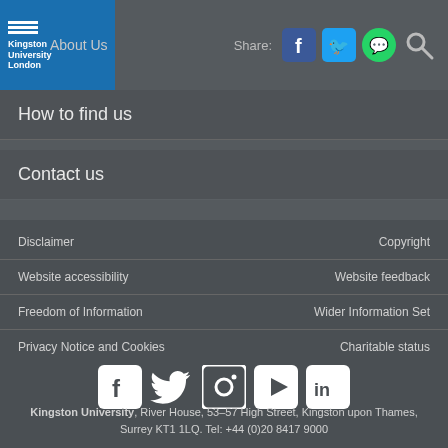About Us — Kingston University London | Share
How to find us
Contact us
Disclaimer | Copyright | Website accessibility | Website feedback | Freedom of Information | Wider Information Set | Privacy Notice and Cookies | Charitable status
[Figure (logo): Social media icons: Facebook, Twitter, Instagram, YouTube, LinkedIn]
Kingston University, River House, 53–57 High Street, Kingston upon Thames, Surrey KT1 1LQ. Tel: +44 (0)20 8417 9000